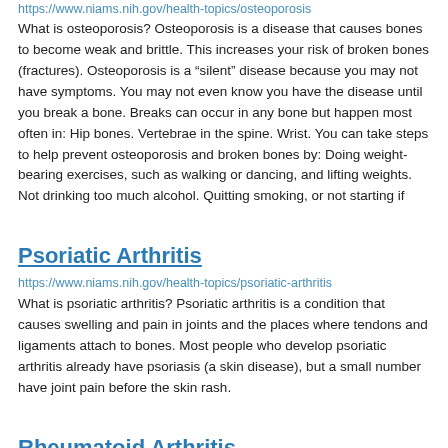https://www.niams.nih.gov/health-topics/osteoporosis
What is osteoporosis? Osteoporosis is a disease that causes bones to become weak and brittle. This increases your risk of broken bones (fractures). Osteoporosis is a “silent” disease because you may not have symptoms. You may not even know you have the disease until you break a bone. Breaks can occur in any bone but happen most often in: Hip bones. Vertebrae in the spine. Wrist. You can take steps to help prevent osteoporosis and broken bones by: Doing weight-bearing exercises, such as walking or dancing, and lifting weights. Not drinking too much alcohol. Quitting smoking, or not starting if
Psoriatic Arthritis
https://www.niams.nih.gov/health-topics/psoriatic-arthritis
What is psoriatic arthritis? Psoriatic arthritis is a condition that causes swelling and pain in joints and the places where tendons and ligaments attach to bones. Most people who develop psoriatic arthritis already have psoriasis (a skin disease), but a small number have joint pain before the skin rash.
Rheumatoid Arthritis
https://www.niams.nih.gov/health-topics/rheumatoid-arthritis
What is rheumatoid arthritis? Rheumatoid arthritis (RA) is a chronic